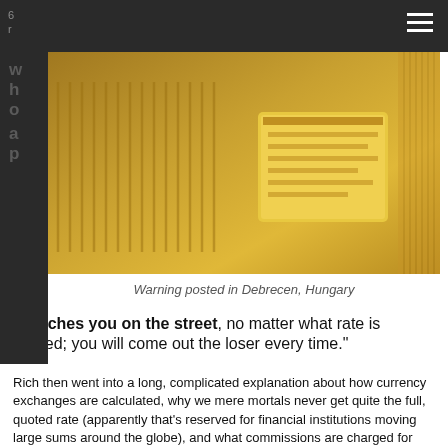[Figure (photo): Photograph of a warning sign posted in Debrecen, Hungary, showing a currency exchange warning, with yellow/golden tones]
Warning posted in Debrecen, Hungary
proaches you on the street, no matter what rate is offered; you will come out the loser every time."
Rich then went into a long, complicated explanation about how currency exchanges are calculated, why we mere mortals never get quite the full, quoted rate (apparently that's reserved for financial institutions moving large sums around the globe), and what commissions are charged for currency conversion and cash withdrawals. Every step shaves a sliver off the amount you'll receive, but the bottom line, Rich says, is this: you'll probably want to extract cash using your credit card. For a start, this lets you use the exchange rate offered by your card issuer, not some random